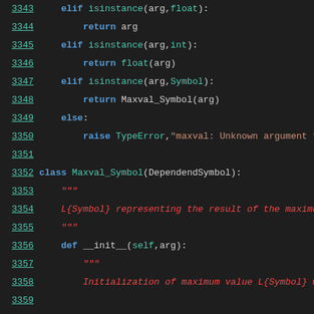Source code listing lines 3343-3365
3343:     elif isinstance(arg,float):
3344:         return arg
3345:     elif isinstance(arg,int):
3346:         return float(arg)
3347:     elif isinstance(arg,Symbol):
3348:         return Maxval_Symbol(arg)
3349:     else:
3350:         raise TypeError,"maxval: Unknown argument ty
3351:
3352: class Maxval_Symbol(DependendSymbol):
3353:     """
3354:     L{Symbol} representing the result of the maximu
3355:     """
3356:     def __init__(self,arg):
3357:         """
3358:         Initialization of maximum value L{Symbol} wi
3359:
3360:         @param arg: argument of function
3361:         @type arg: typically L{Symbol}
3362:         """
3363:         DependendSymbol.__init__(self,args=[arg],sha
3364:
3365:     def getMyCode(self,argstrs,format="escript"):